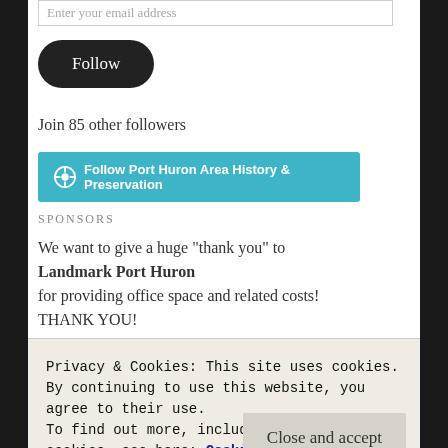Enter your email address
Follow
Join 85 other followers
Follow Port Huron Area History & Preservation
SPONSORS
We want to give a huge "thank you" to
Landmark Port Huron
for providing office space and related costs!
THANK YOU!
Privacy & Cookies: This site uses cookies. By continuing to use this website, you agree to their use.
To find out more, including how to control cookies, see here: Cookie Policy
Close and accept
Donations and sponsorships are like water to us–without